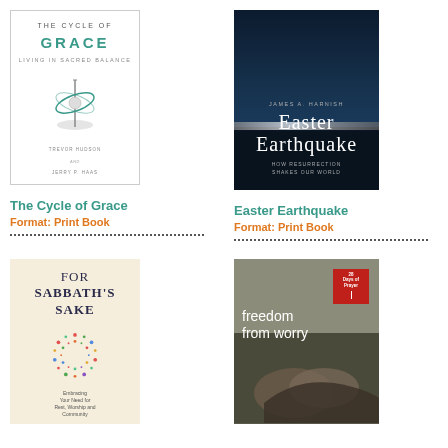[Figure (illustration): Book cover of 'The Cycle of Grace - Living in Sacred Balance' by Trevor Hudson and Jerry P. Haas, white cover with gyroscope illustration]
The Cycle of Grace
Format: Print Book
[Figure (illustration): Book cover of 'Easter Earthquake - How Resurrection Shakes Our World' by James A. Harnish, dark blue/black cover with light horizon]
Easter Earthquake
Format: Print Book
[Figure (illustration): Book cover of 'For Sabbath's Sake - Embracing Your Need for Rest, Worship and Community', cream colored cover with colorful dot wreath]
[Figure (illustration): Book cover of 'Freedom from Worry - 28 Days of Prayer', tan/gray cover with hands photograph]